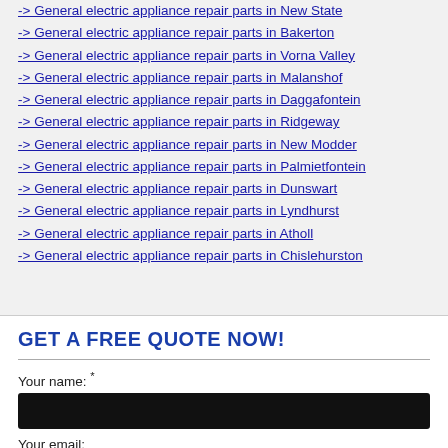-> General electric appliance repair parts in New State
-> General electric appliance repair parts in Bakerton
-> General electric appliance repair parts in Vorna Valley
-> General electric appliance repair parts in Malanshof
-> General electric appliance repair parts in Daggafontein
-> General electric appliance repair parts in Ridgeway
-> General electric appliance repair parts in New Modder
-> General electric appliance repair parts in Palmietfontein
-> General electric appliance repair parts in Dunswart
-> General electric appliance repair parts in Lyndhurst
-> General electric appliance repair parts in Atholl
-> General electric appliance repair parts in Chislehurston
GET A FREE QUOTE NOW!
Your name: *
Your email:
Telephone: *